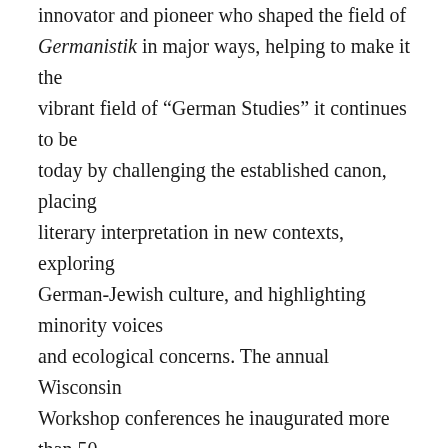innovator and pioneer who shaped the field of Germanistik in major ways, helping to make it the vibrant field of “German Studies” it continues to be today by challenging the established canon, placing literary interpretation in new contexts, exploring German-Jewish culture, and highlighting minority voices and ecological concerns. The annual Wisconsin Workshop conferences he inaugurated more than 50 years ago introduced ground-breaking topics; the tradition continues today, with the 52nd Wisconsin Workshop (“German Studies and Beyond”) planned for fall 2022. Into his 80s, Jost held students spellbound when he lectured – and more recently, guest-lectured – in a large course on “Nazi Culture”, speaking from his own personal experience. His graduate students praise him as an inspiring teacher and mentor: dozens of UW-Madison